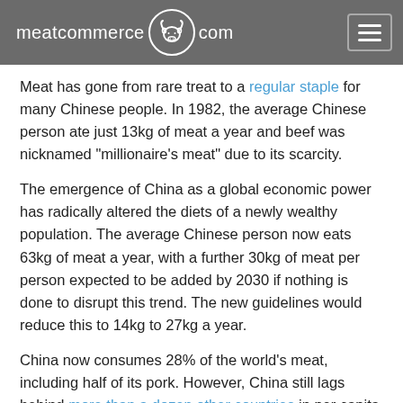meatcommerce.com
Meat has gone from rare treat to a regular staple for many Chinese people. In 1982, the average Chinese person ate just 13kg of meat a year and beef was nicknamed “millionaire’s meat” due to its scarcity.
The emergence of China as a global economic power has radically altered the diets of a newly wealthy population. The average Chinese person now eats 63kg of meat a year, with a further 30kg of meat per person expected to be added by 2030 if nothing is done to disrupt this trend. The new guidelines would reduce this to 14kg to 27kg a year.
China now consumes 28% of the world’s meat, including half of its pork. However, China still lags behind more than a dozen other countries in per capita meat consumption, with the average American or Australian consuming twice as much meat per person compared to China.